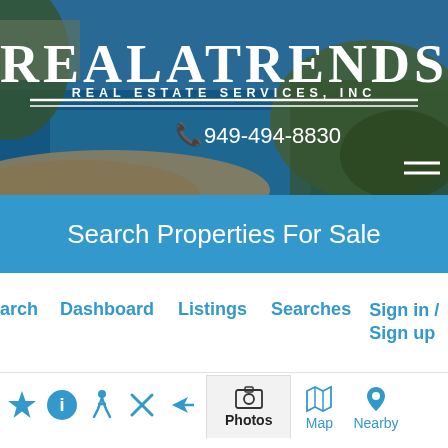[Figure (screenshot): Realatrends Real Estate Services Inc website hero section with coastal beach photo background, company logo, phone number 949-494-8830, and hamburger menu icon]
Search Properties For Sale
arch  Dashboard  Listings  Searches  Sign in / Sign up
[Figure (screenshot): Bottom toolbar with star, info, walk, close, share icons; Photos tab active; Map tab; Nearby Listings tab]